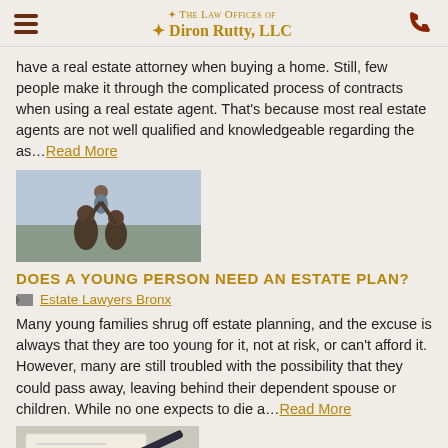The Law Offices of Diron Rutty, LLC
have a real estate attorney when buying a home. Still, few people make it through the complicated process of contracts when using a real estate agent. That's because most real estate agents are not well qualified and knowledgeable regarding the as… Read More
[Figure (photo): Family photo with parents lifting a child outdoors]
DOES A YOUNG PERSON NEED AN ESTATE PLAN?
Estate Lawyers Bronx
Many young families shrug off estate planning, and the excuse is always that they are too young for it, not at risk, or can't afford it. However, many are still troubled with the possibility that they could pass away, leaving behind their dependent spouse or children. While no one expects to die a… Read More
[Figure (photo): Close-up of a hand signing a document or check]